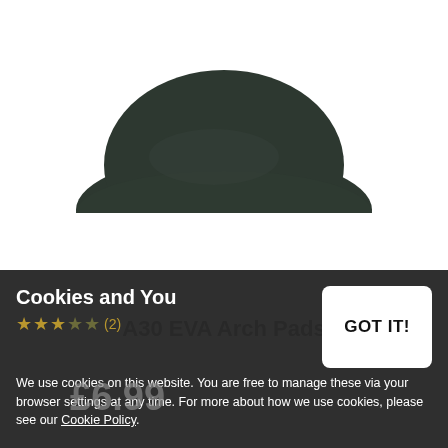[Figure (photo): A dark green/black EVA arch pad insert, semi-circular/lens shaped, viewed from above on white background]
A30 EVA Arch Pads
Cookies and You
We use cookies on this website. You are free to manage these via your browser settings at any time. For more about how we use cookies, please see our Cookie Policy.
GOT IT!